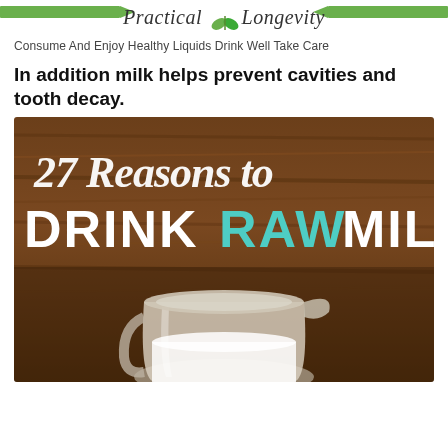Practical Longevity
Consume And Enjoy Healthy Liquids Drink Well Take Care
In addition milk helps prevent cavities and tooth decay.
[Figure (photo): Infographic image with text '27 Reasons to DRINK RAW MILK' over a wooden background with a glass pitcher of milk in the foreground]